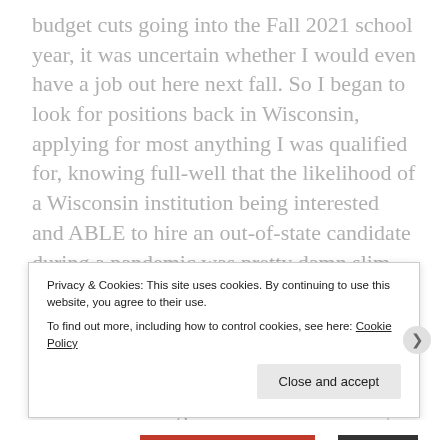budget cuts going into the Fall 2021 school year, it was uncertain whether I would even have a job out here next fall. So I began to look for positions back in Wisconsin, applying for most anything I was qualified for, knowing full-well that the likelihood of a Wisconsin institution being interested and ABLE to hire an out-of-state candidate during a pandemic was pretty damn slim. To be sure, I've applied for positions in Wisconsin now and then over the last few years, and have even interviewed in-person for a couple. But, the urgency and exigency to find something stable was never really there, because ultimately I had a reliable
Privacy & Cookies: This site uses cookies. By continuing to use this website, you agree to their use.
To find out more, including how to control cookies, see here: Cookie Policy